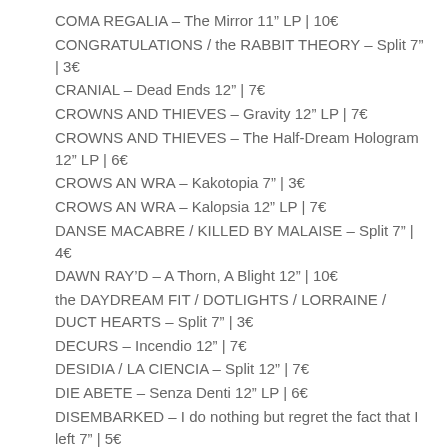COMA REGALIA – The Mirror 11" LP | 10€
CONGRATULATIONS / the RABBIT THEORY – Split 7" | 3€
CRANIAL – Dead Ends 12" | 7€
CROWNS AND THIEVES – Gravity 12" LP | 7€
CROWNS AND THIEVES – The Half-Dream Hologram 12" LP | 6€
CROWS AN WRA – Kakotopia 7" | 3€
CROWS AN WRA – Kalopsia 12" LP | 7€
DANSE MACABRE / KILLED BY MALAISE – Split 7" | 4€
DAWN RAY'D – A Thorn, A Blight 12" | 10€
the DAYDREAM FIT / DOTLIGHTS / LORRAINE / DUCT HEARTS – Split 7" | 3€
DECURS – Incendio 12" | 7€
DESIDIA / LA CIENCIA – Split 12" | 7€
DIE ABETE – Senza Denti 12" LP | 6€
DISEMBARKED – I do nothing but regret the fact that I left 7" | 5€
DISEMBARKED – Nothing's Wrong Here 12" LP | 8€